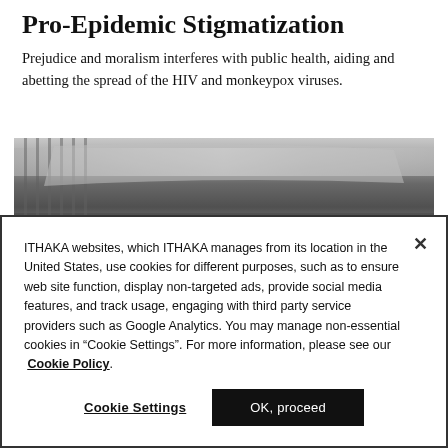Pro-Epidemic Stigmatization
Prejudice and moralism interferes with public health, aiding and abetting the spread of the HIV and monkeypox viruses.
[Figure (photo): Black and white photograph showing people near iron railings with a large tarp or banner overhead, outdoor protest or street scene.]
ITHAKA websites, which ITHAKA manages from its location in the United States, use cookies for different purposes, such as to ensure web site function, display non-targeted ads, provide social media features, and track usage, engaging with third party service providers such as Google Analytics. You may manage non-essential cookies in “Cookie Settings”. For more information, please see our  Cookie Policy.